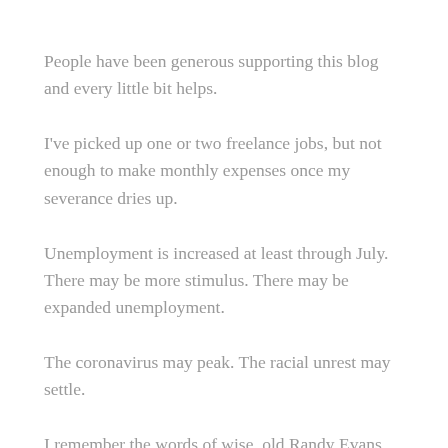People have been generous supporting this blog and every little bit helps.
I've picked up one or two freelance jobs, but not enough to make monthly expenses once my severance dries up.
Unemployment is increased at least through July. There may be more stimulus. There may be expanded unemployment.
The coronavirus may peak. The racial unrest may settle.
I remember the words of wise, old Randy Evans